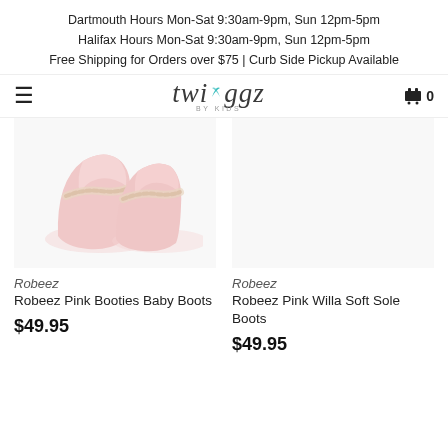Dartmouth Hours Mon-Sat 9:30am-9pm, Sun 12pm-5pm
Halifax Hours Mon-Sat 9:30am-9pm, Sun 12pm-5pm
Free Shipping for Orders over $75 | Curb Side Pickup Available
[Figure (logo): Twiggz by Kids logo with teal leaf accent, hamburger menu icon on left, shopping cart icon with 0 on right]
[Figure (photo): Pink baby booties/boots product photo on white background]
Robeez
Robeez Pink Booties Baby Boots
$49.95
Robeez
Robeez Pink Willa Soft Sole Boots
$49.95